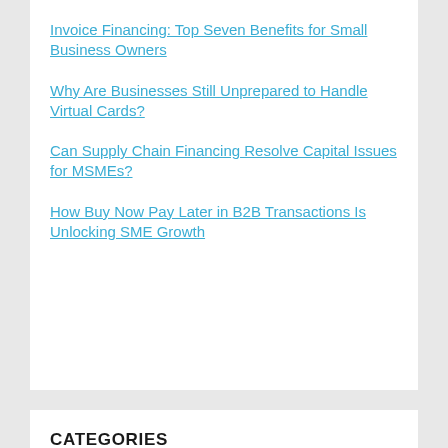Invoice Financing: Top Seven Benefits for Small Business Owners
Why Are Businesses Still Unprepared to Handle Virtual Cards?
Can Supply Chain Financing Resolve Capital Issues for MSMEs?
How Buy Now Pay Later in B2B Transactions Is Unlocking SME Growth
CATEGORIES
Lending Lifecycle Management